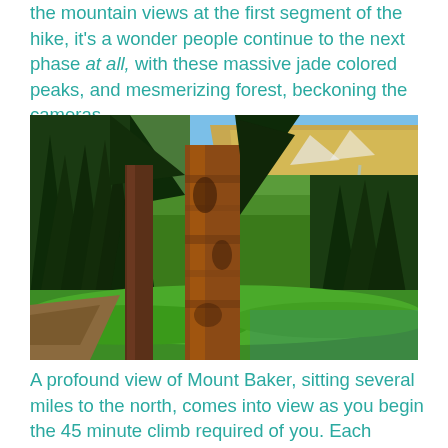the mountain views at the first segment of the hike, it's a wonder people continue to the next phase at all, with these massive jade colored peaks, and mesmerizing forest, beckoning the cameras.
[Figure (photo): A mountain landscape photo showing a large tree in the foreground with an orange-brown bark, surrounded by dense green forest and lush green meadow, with jade-colored mountain peaks and blue sky visible in the background.]
A profound view of Mount Baker, sitting several miles to the north, comes into view as you begin the 45 minute climb required of you. Each switchback-porch gives a slightly better angle on the mountains beyond.